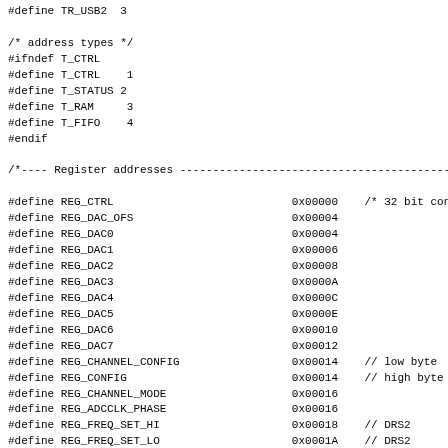#define TR_USB2  3

/* address types */
#ifndef T_CTRL
#define T_CTRL    1
#define T_STATUS 2
#define T_RAM     3
#define T_FIFO    4
#endif

/*---- Register addresses ---...

#define REG_CTRL                           0x00000    /* 32 bit con
#define REG_DAC_OFS                        0x00004
#define REG_DAC0                           0x00004
#define REG_DAC1                           0x00006
#define REG_DAC2                           0x00008
#define REG_DAC3                           0x0000A
#define REG_DAC4                           0x0000C
#define REG_DAC5                           0x0000E
#define REG_DAC6                           0x00010
#define REG_DAC7                           0x00012
#define REG_CHANNEL_CONFIG                 0x00014    // low byte
#define REG_CONFIG                         0x00014    // high byte
#define REG_CHANNEL_MODE                   0x00016
#define REG_ADCCLK_PHASE                   0x00016
#define REG_FREQ_SET_HI                    0x00018    // DRS2
#define REG_FREQ_SET_LO                    0x0001A    // DRS2
#define REG_TRG_DELAY                      0x00018    // DRS4
#define REG_FREQ_SET                       0x0001A    // DRS4
#define REG_TRIG_DELAY                     0x0001C
#define REG_LMK_MSB                        0x0001C    // DRS4 Mezz
#define REG_CALIB_TIMING                   0x0001E    // DRS2